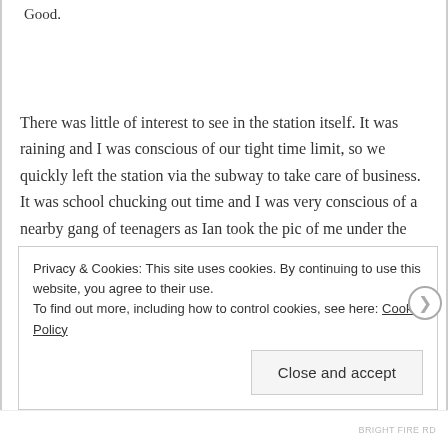Good.
There was little of interest to see in the station itself. It was raining and I was conscious of our tight time limit, so we quickly left the station via the subway to take care of business. It was school chucking out time and I was very conscious of a nearby gang of teenagers as Ian took the pic of me under the sign. We fled
Privacy & Cookies: This site uses cookies. By continuing to use this website, you agree to their use.
To find out more, including how to control cookies, see here: Cookie Policy
Close and accept